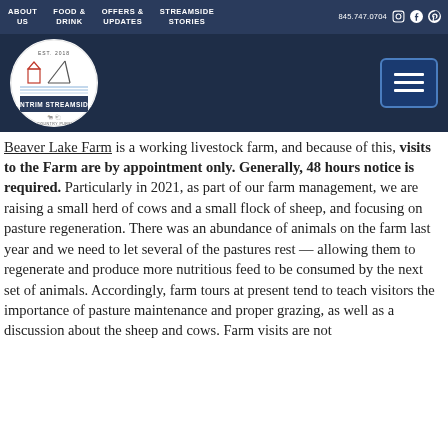ABOUT US | FOOD & DRINK | OFFERS & UPDATES | STREAMSIDE STORIES | 845.747.0704
[Figure (logo): Antrim Streamside circular logo with farm illustration and text 'ANTRIM STREAMSIDE' and 'FOR COUNTRY PURSUITS', EST. 2018]
Beaver Lake Farm is a working livestock farm, and because of this, visits to the Farm are by appointment only. Generally, 48 hours notice is required. Particularly in 2021, as part of our farm management, we are raising a small herd of cows and a small flock of sheep, and focusing on pasture regeneration. There was an abundance of animals on the farm last year and we need to let several of the pastures rest — allowing them to regenerate and produce more nutritious feed to be consumed by the next set of animals. Accordingly, farm tours at present tend to teach visitors the importance of pasture maintenance and proper grazing, as well as a discussion about the sheep and cows. Farm visits are not